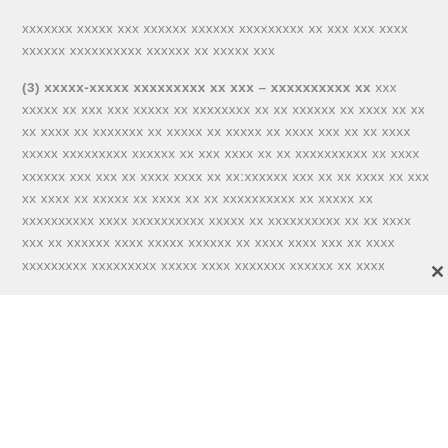xxxxxxx xxxxx xxx xxxxxx xxxxxx xxxxxxxxx xx xxx xxx xxxx xxxxxx xxxxxxxxxx xxxxxx xx xxxxx xxx
(3) xxxxx-xxxxx xxxxxxxxx xx xxx – xxxxxxxxxx xx xxx xxxxx xx xxx xxx xxxxx xx xxxxxxxx xx xx xxxxxx xx xxxx xx xx xx xxxx xx xxxxxxx xx xxxxx xx xxxxx xx xxxx xxx xx xx xxxx xxxxx xxxxxxxxx xxxxxx xx xxx xxxx xx xx xxxxxxxxxx xx xxxx xxxxxx xxx xxx xx xxxx xxxx xx xx:xxxxxx xxx xx xx xxxx xx xxx xx xxxx xx xxxxx xx xxxx xx xx xxxxxxxxxx xx xxxxx xx xxxxxxxxxx xxxx xxxxxxxxxx xxxxx xx xxxxxxxxxx xx xx xxxx xxx xx xxxxxx xxxx xxxxx xxxxxx xx xxxx xxxx xxx xx xxxx xxxxxxxxx xxxxxxxxx xxxxx xxxx xxxxxxx xxxxxx xx xxxx